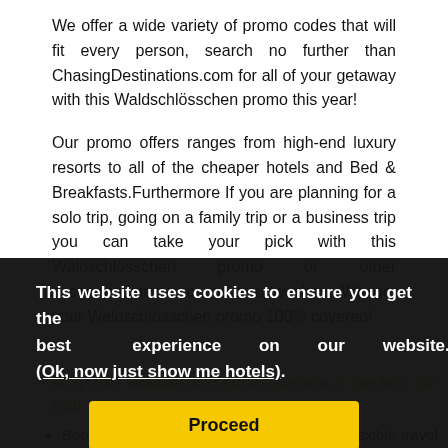We offer a wide variety of promo codes that will fit every person, search no further than ChasingDestinations.com for all of your getaway with this Waldschlösschen promo this year!
Our promo offers ranges from high-end luxury resorts to all of the cheaper hotels and Bed & Breakfasts.Furthermore If you are planning for a solo trip, going on a family trip or a business trip you can take your pick with this Waldschlösschen promo or other accommodations to suit your wishes. We got your Waldschlösschen promo 100% covered!
Why this Waldschlösschen promo is perfect for you.
This website uses cookies to ensure you get the best experience on our website. (Ok, now just show me hotels).
Proceed
Book with confidence - We have plenty of flexible travel options to choose from in case you need to change your travel plans.